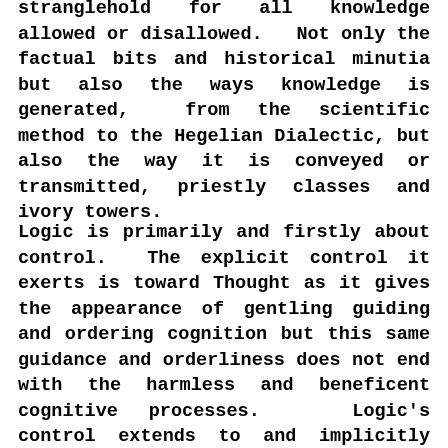stranglehold for all knowledge allowed or disallowed.  Not only the factual bits and historical minutia but also the ways knowledge is generated,  from the scientific method to the Hegelian Dialectic, but also the way it is conveyed or transmitted, priestly classes and ivory towers.
Logic is primarily and firstly about control.  The explicit control it exerts is toward Thought as it gives the appearance of gentling guiding and ordering cognition but this same guidance and orderliness does not end with the harmless and beneficent cognitive processes.  Logic's control extends to and implicitly transmigrates to the socius, the economic and political, and is especially pernicious in regard to the lower classes or the segment of the populace whom are